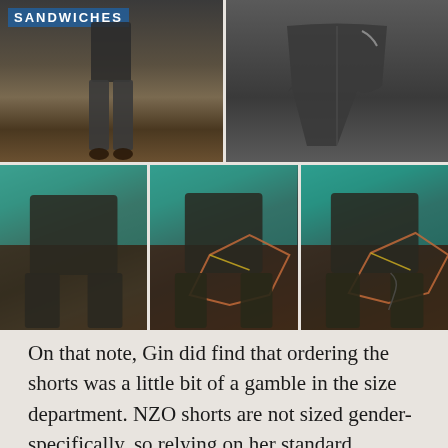[Figure (photo): Five photos of mountain biking shorts. Top row: left photo shows person wearing dark shorts standing in front of a sandwich shop sign; right photo shows flat lay of dark grey shorts on wooden surface. Bottom row: three photos of a woman wearing teal jersey and dark shorts in front of a building, showing front, side, and pocket views.]
On that note, Gin did find that ordering the shorts was a little bit of a gamble in the size department. NZO shorts are not sized gender-specifically, so relying on her standard “medium” fit didn’t cut it. The sizing chart was a little confusing too. Neither of us has quite figured out where exactly our waists reside. In short, Ginny opted for the small size, although her measurements had her somewhere